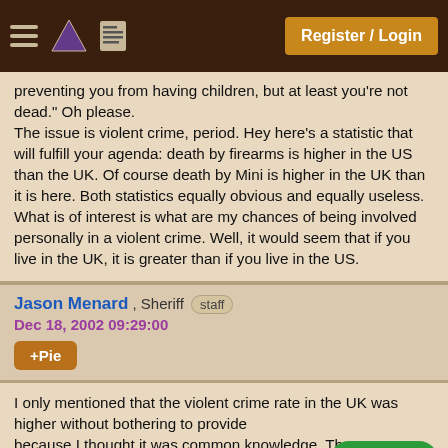Register / Login
preventing you from having children, but at least you're not dead." Oh please.
The issue is violent crime, period. Hey here's a statistic that will fulfill your agenda: death by firearms is higher in the US than the UK. Of course death by Mini is higher in the UK than it is here. Both statistics equally obvious and equally useless. What is of interest is what are my chances of being involved personally in a violent crime. Well, it would seem that if you live in the UK, it is greater than if you live in the US.
Jason Menard , Sheriff staff
Dec 18, 2002 09:29:00
+Pie
I only mentioned that the violent crime rate in the UK was higher without bothering to provide because I thought it was common knowledge. Thomas already found the statistics that anyone could have